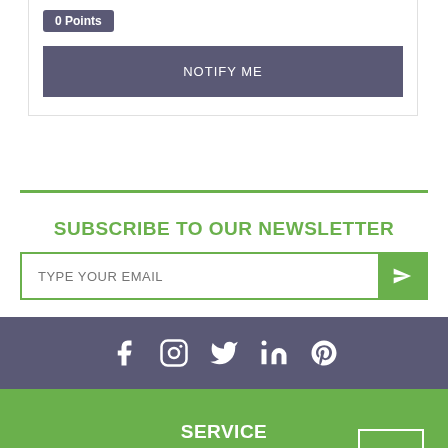0 Points
NOTIFY ME
SUBSCRIBE TO OUR NEWSLETTER
TYPE YOUR EMAIL
[Figure (infographic): Social media icons: Facebook, Instagram, Twitter, LinkedIn, Pinterest on a purple/grey background]
SERVICE
My Account
Track Order
Resolution Centre